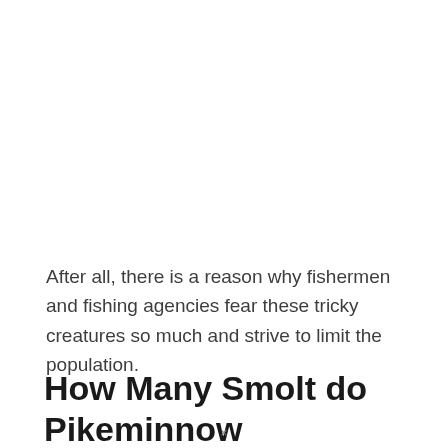After all, there is a reason why fishermen and fishing agencies fear these tricky creatures so much and strive to limit the population.
How Many Smolt do Pikeminnow